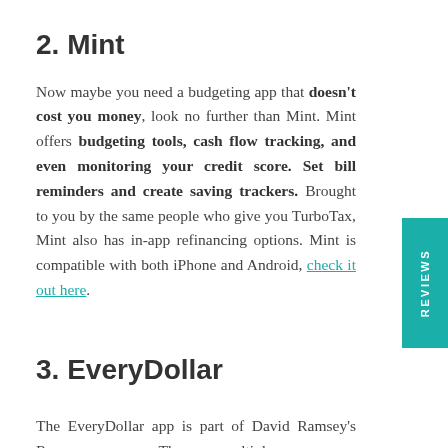2. Mint
Now maybe you need a budgeting app that doesn't cost you money, look no further than Mint. Mint offers budgeting tools, cash flow tracking, and even monitoring your credit score. Set bill reminders and create saving trackers. Brought to you by the same people who give you TurboTax, Mint also has in-app refinancing options. Mint is compatible with both iPhone and Android, check it out here.
3. EveryDollar
The EveryDollar app is part of David Ramsey's Ramsey+ program. There are multiple